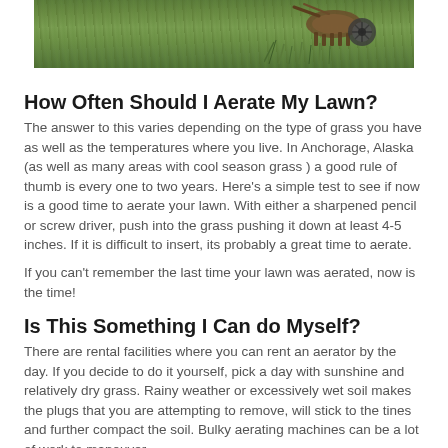[Figure (photo): Photograph of a lawn aerator machine on green grass, viewed from above/side showing the tines and wheels]
How Often Should I Aerate My Lawn?
The answer to this varies depending on the type of grass you have as well as the temperatures where you live. In Anchorage, Alaska (as well as many areas with cool season grass ) a good rule of thumb is every one to two years. Here's a simple test to see if now is a good time to aerate your lawn. With either a sharpened pencil or screw driver, push into the grass pushing it down at least 4-5 inches. If it is difficult to insert, its probably a great time to aerate.
If you can't remember the last time your lawn was aerated, now is the time!
Is This Something I Can do Myself?
There are rental facilities where you can rent an aerator by the day. If you decide to do it yourself, pick a day with sunshine and relatively dry grass. Rainy weather or excessively wet soil makes the plugs that you are attempting to remove, will stick to the tines and further compact the soil. Bulky aerating machines can be a lot of work to manouver